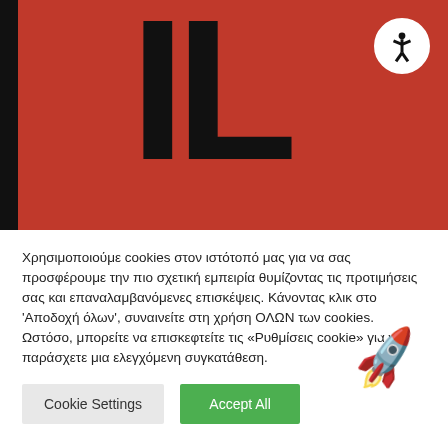[Figure (screenshot): Red banner header with black vertical bar on left, large black letters/logo in center, and white circular accessibility icon in top right corner]
Χρησιμοποιούμε cookies στον ιστότοπό μας για να σας προσφέρουμε την πιο σχετική εμπειρία θυμίζοντας τις προτιμήσεις σας και επαναλαμβανόμενες επισκέψεις. Κάνοντας κλικ στο 'Αποδοχή όλων', συναινείτε στη χρήση ΟΛΩΝ των cookies. Ωστόσο, μπορείτε να επισκεφτείτε τις «Ρυθμίσεις cookie» για να παράσχετε μια ελεγχόμενη συγκατάθεση.
Cookie Settings
Accept All